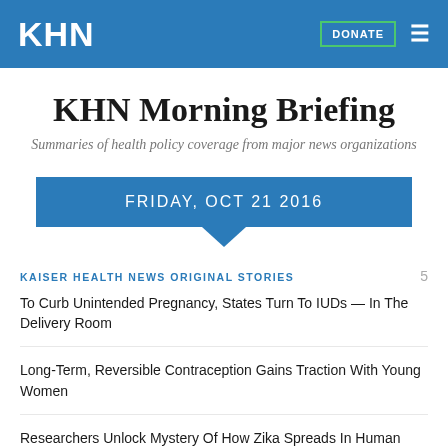KHN
KHN Morning Briefing
Summaries of health policy coverage from major news organizations
FRIDAY, OCT 21 2016
KAISER HEALTH NEWS ORIGINAL STORIES
To Curb Unintended Pregnancy, States Turn To IUDs — In The Delivery Room
Long-Term, Reversible Contraception Gains Traction With Young Women
Researchers Unlock Mystery Of How Zika Spreads In Human Cells
California Man Dies After Apparent Failure Of Artificial Heart Compressor